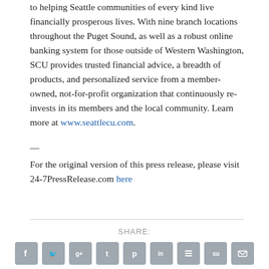to helping Seattle communities of every kind live financially prosperous lives. With nine branch locations throughout the Puget Sound, as well as a robust online banking system for those outside of Western Washington, SCU provides trusted financial advice, a breadth of products, and personalized service from a member-owned, not-for-profit organization that continuously re-invests in its members and the local community. Learn more at www.seattlecu.com.
—
For the original version of this press release, please visit 24-7PressRelease.com here
SHARE: